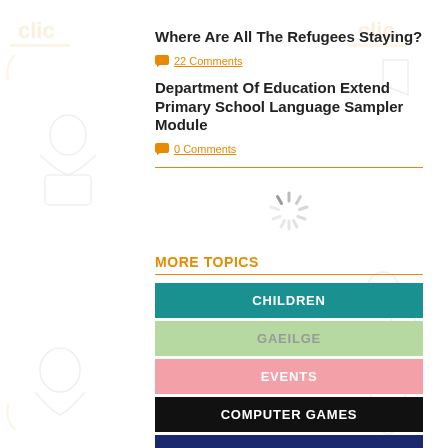Where Are All The Refugees Staying?
22 Comments
Department Of Education Extend Primary School Language Sampler Module
0 Comments
[Figure (other): Loading spinner animation]
MORE TOPICS
CHILDREN
GAEILGE
EVENTS
COMPUTER GAMES
REVIEWS